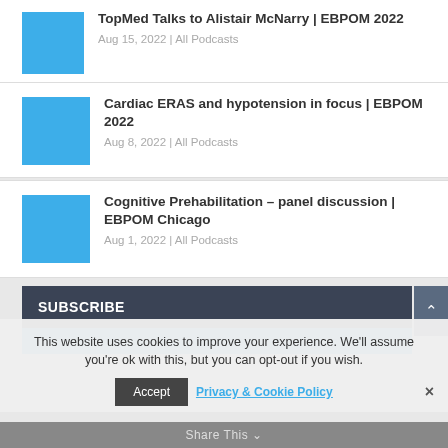TopMed Talks to Alistair McNarry | EBPOM 2022 — Aug 15, 2022 | All Podcasts
Cardiac ERAS and hypotension in focus | EBPOM 2022 — Aug 8, 2022 | All Podcasts
Cognitive Prehabilitation – panel discussion | EBPOM Chicago — Aug 1, 2022 | All Podcasts
SUBSCRIBE
This website uses cookies to improve your experience. We'll assume you're ok with this, but you can opt-out if you wish.
Accept   Privacy & Cookie Policy   ×
Share This